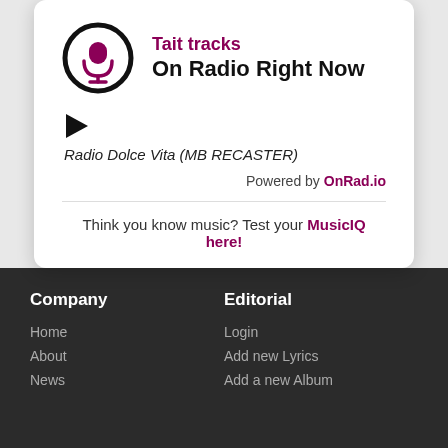Tait tracks On Radio Right Now
Radio Dolce Vita (MB RECASTER)
Powered by OnRad.io
Think you know music? Test your MusicIQ here!
Company
Home
About
News
Editorial
Login
Add new Lyrics
Add a new Album